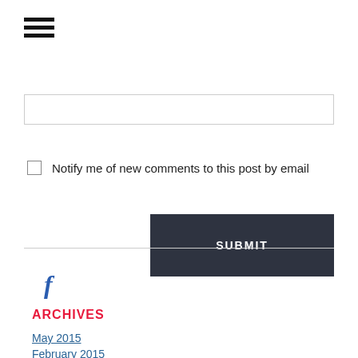[Figure (other): Hamburger menu icon (three horizontal bars)]
[Figure (other): Text input field (empty, with border)]
Notify me of new comments to this post by email
SUBMIT
[Figure (other): Facebook icon (stylized f)]
ARCHIVES
May 2015
February 2015
February 2014